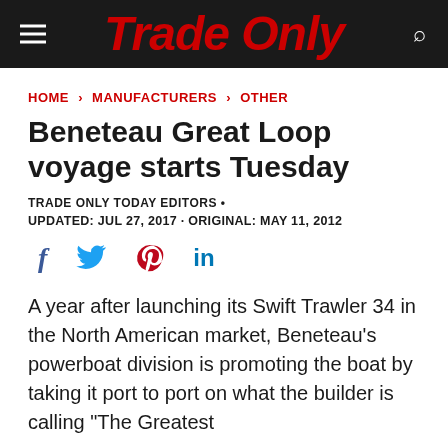Trade Only
HOME › MANUFACTURERS › OTHER
Beneteau Great Loop voyage starts Tuesday
TRADE ONLY TODAY EDITORS •
UPDATED: JUL 27, 2017 · ORIGINAL: MAY 11, 2012
[Figure (infographic): Social media share icons: Facebook (f), Twitter bird, Pinterest (P), LinkedIn (in)]
A year after launching its Swift Trawler 34 in the North American market, Beneteau's powerboat division is promoting the boat by taking it port to port on what the builder is calling "The Greatest